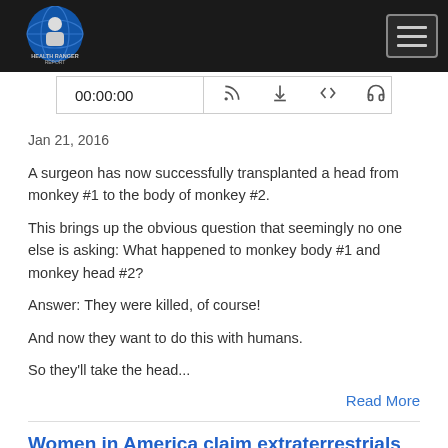Health Ranger Report
00:00:00
Jan 21, 2016
A surgeon has now successfully transplanted a head from monkey #1 to the body of monkey #2.
This brings up the obvious question that seemingly no one else is asking: What happened to monkey body #1 and monkey head #2?
Answer: They were killed, of course!
And now they want to do this with humans.
So they'll take the head...
Read More
Women in America claim extraterrestrials fathered HYBRID